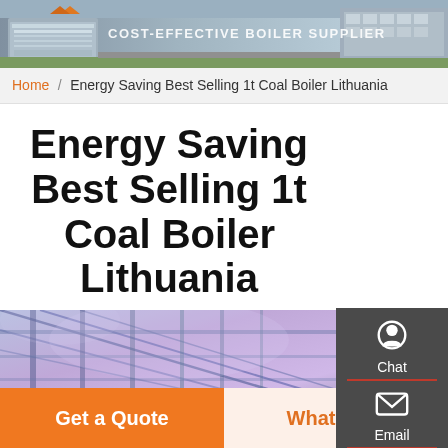[Figure (photo): Industrial/factory building exterior photo used as website header banner, with text overlay reading 'COST-EFFECTIVE BOILER SUPPLIER']
Home / Energy Saving Best Selling 1t Coal Boiler Lithuania
Energy Saving Best Selling 1t Coal Boiler Lithuania
[Figure (photo): Industrial boiler interior photo showing metal framework and roof structure with blue/purple lighting]
Get a Quote
WhatsApp